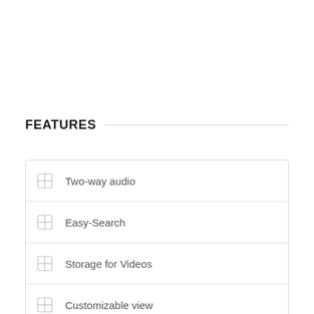FEATURES
Two-way audio
Easy-Search
Storage for Videos
Customizable view
Motion detection